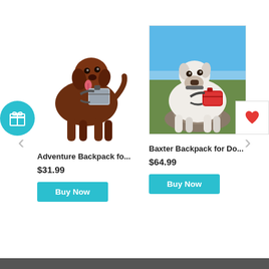[Figure (photo): Brown Labrador dog wearing a grey adventure backpack, standing on white background]
[Figure (photo): White boxer dog wearing a red backpack, standing outdoors on a rocky hilltop with blue sky]
Adventure Backpack fo...
$31.99
Buy Now
Baxter Backpack for Do...
$64.99
Buy Now